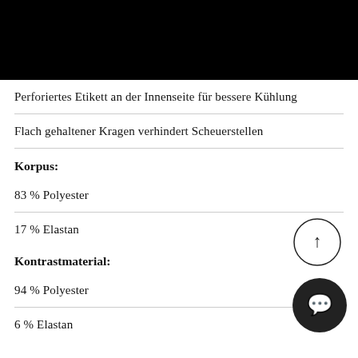Perforiertes Etikett an der Innenseite für bessere Kühlung
Flach gehaltener Kragen verhindert Scheuerstellen
Korpus:
83 % Polyester
17 % Elastan
Kontrastmaterial:
94 % Polyester
6 % Elastan